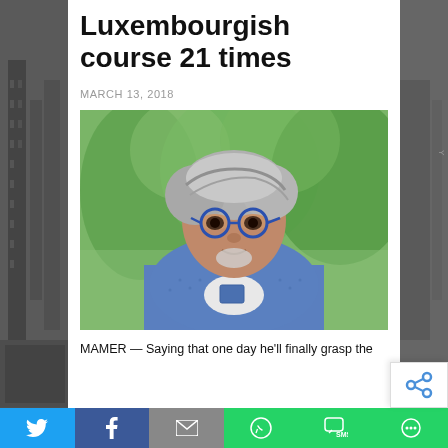Luxembourgish course 21 times
MARCH 13, 2018
[Figure (photo): Middle-aged Asian man with grey hair and round blue-framed glasses, wearing a blue dotted long-sleeve shirt, smiling slightly, with green blurred background (outdoor/trees)]
MAMER — Saying that one day he'll finally grasp the
[Figure (infographic): Social media share bar with icons for Twitter (blue), Facebook (dark blue), Email (grey), WhatsApp (green), SMS (green), and More (green). Also a floating share icon widget on the right side.]